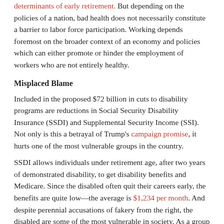determinants of early retirement. But depending on the policies of a nation, bad health does not necessarily constitute a barrier to labor force participation. Working depends foremost on the broader context of an economy and policies which can either promote or hinder the employment of workers who are not entirely healthy.
Misplaced Blame
Included in the proposed $72 billion in cuts to disability programs are reductions in Social Security Disability Insurance (SSDI) and Supplemental Security Income (SSI). Not only is this a betrayal of Trump's campaign promise, it hurts one of the most vulnerable groups in the country.
SSDI allows individuals under retirement age, after two years of demonstrated disability, to get disability benefits and Medicare. Since the disabled often quit their careers early, the benefits are quite low—the average is $1,234 per month. And despite perennial accusations of fakery from the right, the disabled are some of the most vulnerable in society. As a group they aren't faking it—people on disability are three to six times more likely to die than people in their age group who are not on disability.
The U.S. has always had among the lowest levels of long term disability recipiency. It is quite difficult to get on SSDI—less